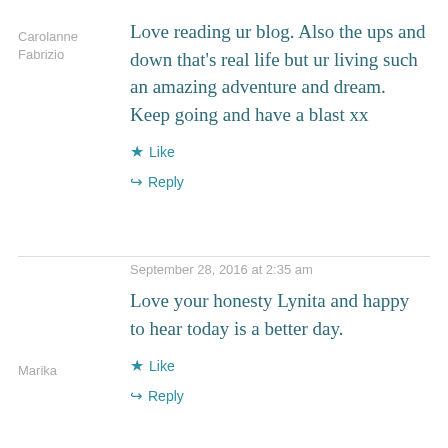Carolanne
Fabrizio
Love reading ur blog. Also the ups and down that's real life but ur living such an amazing adventure and dream. Keep going and have a blast xx
Like
Reply
September 28, 2016 at 2:35 am
Marika
Love your honesty Lynita and happy to hear today is a better day.
Like
Reply